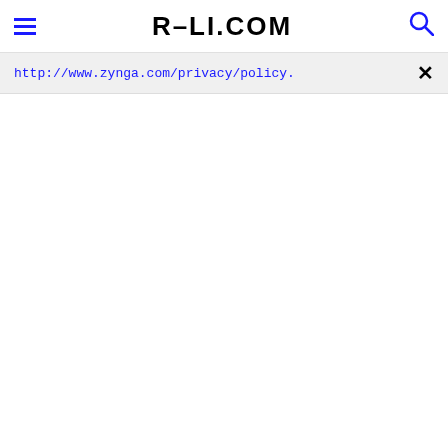R-LI.COM
http://www.zynga.com/privacy/policy.